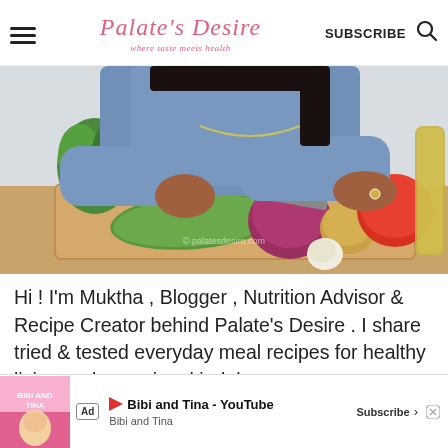Palate's Desire — where taste meets health | SUBSCRIBE
[Figure (photo): Woman in blue denim top cutting vegetables on a wooden board with cucumber, red onion, garlic, onion, and tomato; fresh herbs and a bottle of oil visible. Watermark: © palatesdesire.com]
Hi ! I'm Muktha , Blogger , Nutrition Advisor & Recipe Creator behind Palate's Desire . I share tried & tested everyday meal recipes for healthy living and occasional indulgence
[Figure (other): Advertisement banner: Bibi and Tina - YouTube | Bibi and Tina | Subscribe]